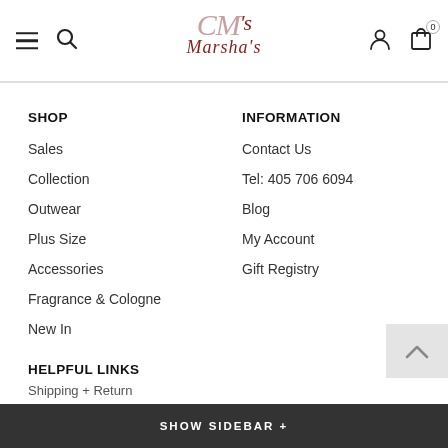[Figure (logo): Marsha's CM logo with hamburger menu and search icon on left, user and cart icons on right]
SHOP
Sales
Collection
Outwear
Plus Size
Accessories
Fragrance & Cologne
New In
INFORMATION
Contact Us
Tel: 405 706 6094
Blog
My Account
Gift Registry
HELPFUL LINKS
Shipping + Return
SHOW SIDEBAR +